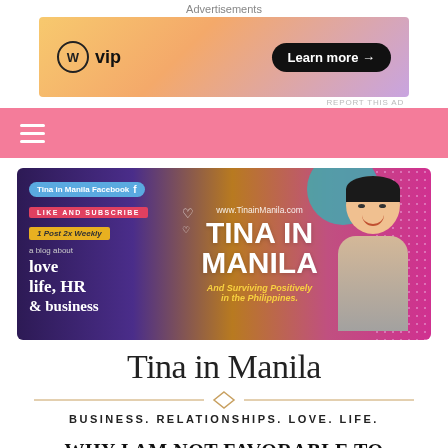Advertisements
[Figure (screenshot): WordPress VIP advertisement banner with orange/purple gradient background, WordPress logo, and 'Learn more →' button]
REPORT THIS AD
≡ (hamburger menu icon) on pink navigation bar
[Figure (illustration): Tina in Manila blog banner: purple/gold/pink gradient background, showing blog name 'TINA IN MANILA', subtitle 'And Surviving Positively in the Philippines.', Facebook link, 'LIKE AND SUBSCRIBE', '1 Post 2x Weekly', 'a blog about love life, HR & business', www.TinainManila.com, heart decorations, and photo of a smiling Asian woman]
Tina in Manila
BUSINESS. RELATIONSHIPS. LOVE. LIFE.
WHY I AM NOT FAVORABLE TO MINIMUM